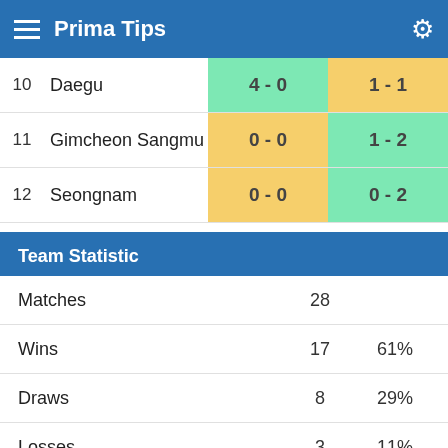Prima Tips
| # | Team | Score 1 | Score 2 |
| --- | --- | --- | --- |
| 10 | Daegu | 4 - 0 | 1 - 1 |
| 11 | Gimcheon Sangmu | 0 - 0 | 1 - 2 |
| 12 | Seongnam | 0 - 0 | 0 - 2 |
Team Statistic
| Stat | Value | Percent |
| --- | --- | --- |
| Matches | 28 |  |
| Wins | 17 | 61% |
| Draws | 8 | 29% |
| Losses | 3 | 11% |